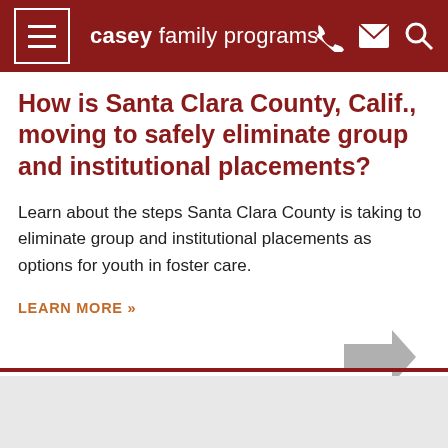casey family programs
How is Santa Clara County, Calif., moving to safely eliminate group and institutional placements?
Learn about the steps Santa Clara County is taking to eliminate group and institutional placements as options for youth in foster care.
LEARN MORE »
[Figure (illustration): Gray right-pointing arrow navigation element]